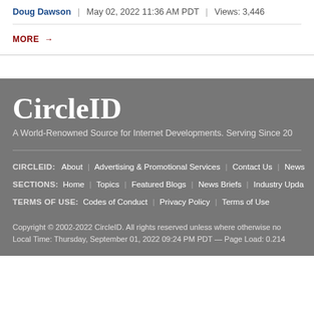Doug Dawson | May 02, 2022 11:36 AM PDT | Views: 3,446
MORE →
CircleID
A World-Renowned Source for Internet Developments. Serving Since 20
CIRCLEID: About | Advertising & Promotional Services | Contact Us | News... SECTIONS: Home | Topics | Featured Blogs | News Briefs | Industry Upda... TERMS OF USE: Codes of Conduct | Privacy Policy | Terms of Use
Copyright © 2002-2022 CircleID. All rights reserved unless where otherwise no... Local Time: Thursday, September 01, 2022 09:24 PM PDT — Page Load: 0.214